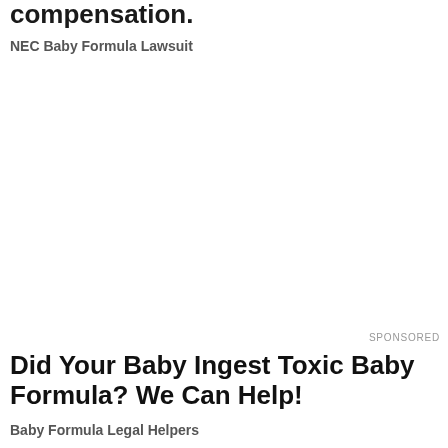compensation.
NEC Baby Formula Lawsuit
SPONSORED
Did Your Baby Ingest Toxic Baby Formula? We Can Help!
Baby Formula Legal Helpers